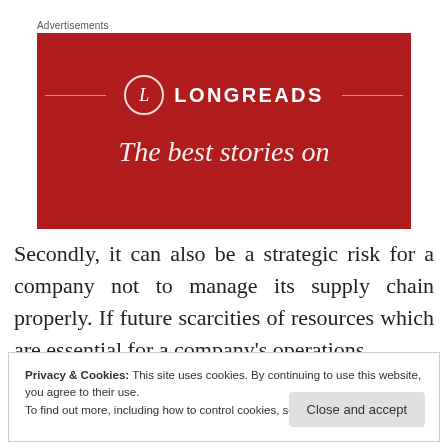Advertisements
[Figure (illustration): Longreads advertisement banner with dark red background, circular logo with letter L, brand name LONGREADS, and tagline 'The best stories on']
Secondly, it can also be a strategic risk for a company not to manage its supply chain properly. If future scarcities of resources which are essential for a company's operations
Privacy & Cookies: This site uses cookies. By continuing to use this website, you agree to their use.
To find out more, including how to control cookies, see here: Cookie Policy
Close and accept